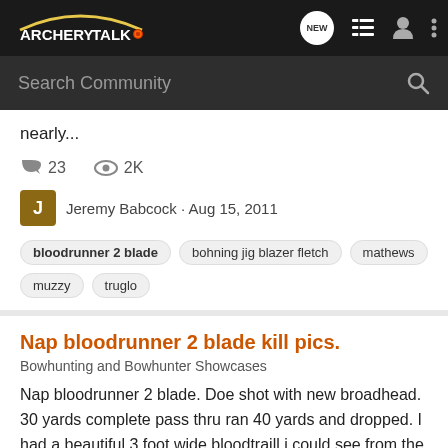ArcheryTalk
nearly...
23 comments · 2K views
Jeremy Babcock · Aug 15, 2011
bloodrunner 2 blade
bohning jig blazer fletch
mathews
muzzy
truglo
Nap bloodrunner 2 blade kill pics.
Bowhunting and Bowhunter Showcases
Nap bloodrunner 2 blade. Doe shot with new broadhead. 30 yards complete pass thru ran 40 yards and dropped. I had a beautiful 3 foot wide bloodtraill i could see from the tree. Love this head wont shoot anything else. The large hole is the exit hole. I hit this doe a bit forward in the shoulder.